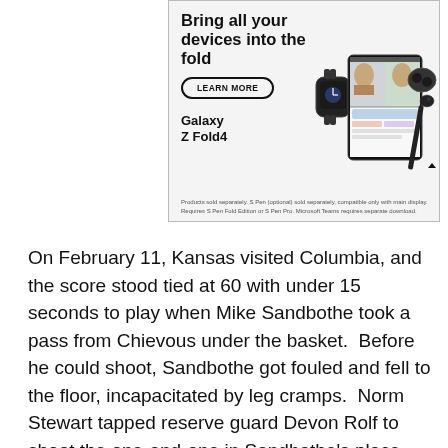[Figure (illustration): Samsung Galaxy Z Fold4 advertisement. Headline: 'Bring all your devices into the fold'. 'LEARN MORE' button. Image of Galaxy Z Fold4 phone open with video call, smartwatch, earbuds, and S Pen. Text at bottom: 'Galaxy Z Fold4'. Disclaimer text about products sold separately.]
On February 11, Kansas visited Columbia, and the score stood tied at 60 with under 15 seconds to play when Mike Sandbothe took a pass from Chievous under the basket.  Before he could shoot, Sandbothe got fouled and fell to the floor, incapacitated by leg cramps.  Norm Stewart tapped reserve guard Devon Rolf to shoot the one-and-one in Sandbothe's place.